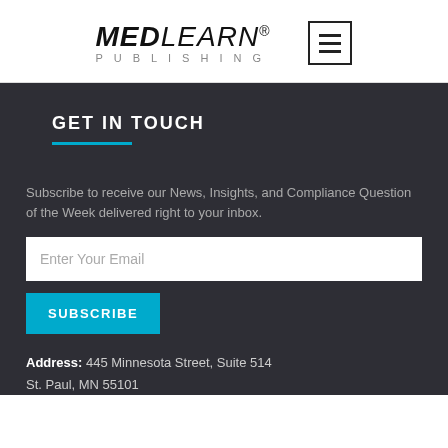MEDLEARN® PUBLISHING
GET IN TOUCH
Subscribe to receive our News, Insights, and Compliance Question of the Week delivered right to your inbox.
Enter Your Email
SUBSCRIBE
Address:  445 Minnesota Street, Suite 514
St. Paul, MN 55101